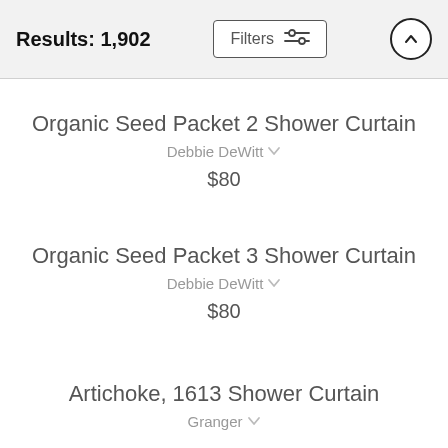Results: 1,902
Organic Seed Packet 2 Shower Curtain
Debbie DeWitt
$80
Organic Seed Packet 3 Shower Curtain
Debbie DeWitt
$80
Artichoke, 1613 Shower Curtain
Granger